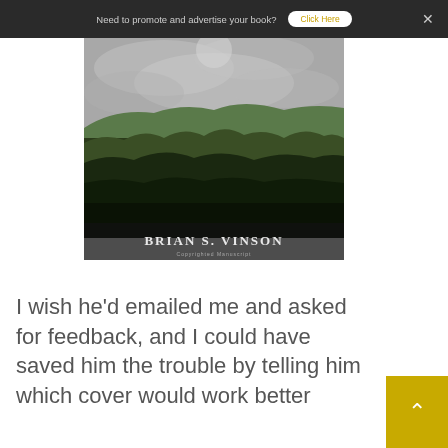Need to promote and advertise your book?   Click Here   ×
[Figure (photo): Book cover image showing an aerial view of a forested suburban landscape with cloudy sky, authored by Brian S. Vinson, with text 'Copyrighted Manuscript' at the bottom]
I wish he'd emailed me and asked for feedback, and I could have saved him the trouble by telling him which cover would work better